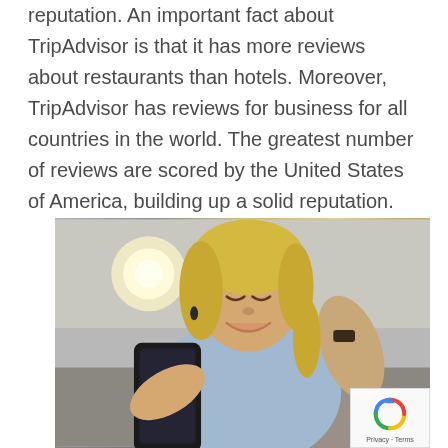reputation. An important fact about TripAdvisor is that it has more reviews about restaurants than hotels. Moreover, TripAdvisor has reviews for business for all countries in the world. The greatest number of reviews are scored by the United States of America, building up a solid reputation.
[Figure (photo): A smiling blonde woman looking down at her smartphone, wearing a light blue denim shirt and a dark watch, leaning back in a relaxed pose.]